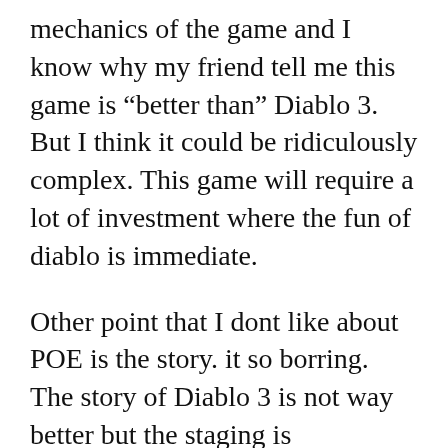mechanics of the game and I know why my friend tell me this game is “better than” Diablo 3. But I think it could be ridiculously complex. This game will require a lot of investment where the fun of diablo is immediate.
Other point that I dont like about POE is the story. it so borring. The story of Diablo 3 is not way better but the staging is everything.
I will continue to see if PoE can break the spell that Diablo put on me since my childhood.